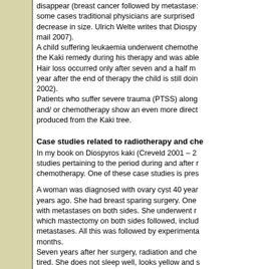disappear (breast cancer followed by metastases: in some cases traditional physicians are surprised to see decrease in size. Ulrich Welte writes that Diosopy... mail 2007). A child suffering leukaemia underwent chemotherapy, the Kaki remedy during his therapy and was able... Hair loss occurred only after seven and a half m... year after the end of therapy the child is still doin... 2002). Patients who suffer severe trauma (PTSS) along and/ or chemotherapy show an even more direct... produced from the Kaki tree.
Case studies related to radiotherapy and che...
In my book on Diospyros kaki (Creveld 2001 – 2... studies pertaining to the period during and after r... chemotherapy. One of these case studies is pres...
A woman was diagnosed with ovary cyst 40 yea... years ago. She had breast sparing surgery. One... with metastases on both sides. She underwent r... which mastectomy on both sides followed, inclu... metastases. All this was followed by experimenta... months. Seven years after her surgery, radiation and che... tired. She does not sleep well, looks yellow and s... chemotherapy/ of cancer. Her hair is thin, she ca... and her feet feel dulled. She often has vertigo be... balance organs. For years she has refused to we... to wear these going into the surgery room (note theme) She is very empathic to others and does...